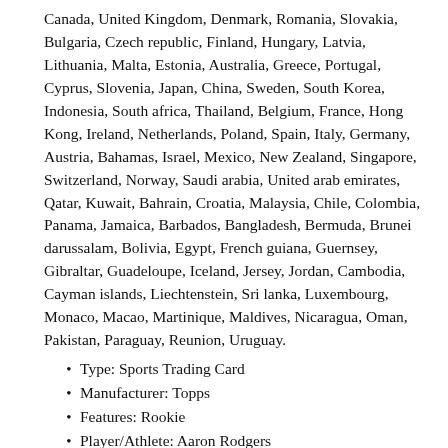Canada, United Kingdom, Denmark, Romania, Slovakia, Bulgaria, Czech republic, Finland, Hungary, Latvia, Lithuania, Malta, Estonia, Australia, Greece, Portugal, Cyprus, Slovenia, Japan, China, Sweden, South Korea, Indonesia, South africa, Thailand, Belgium, France, Hong Kong, Ireland, Netherlands, Poland, Spain, Italy, Germany, Austria, Bahamas, Israel, Mexico, New Zealand, Singapore, Switzerland, Norway, Saudi arabia, United arab emirates, Qatar, Kuwait, Bahrain, Croatia, Malaysia, Chile, Colombia, Panama, Jamaica, Barbados, Bangladesh, Bermuda, Brunei darussalam, Bolivia, Egypt, French guiana, Guernsey, Gibraltar, Guadeloupe, Iceland, Jersey, Jordan, Cambodia, Cayman islands, Liechtenstein, Sri lanka, Luxembourg, Monaco, Macao, Martinique, Maldives, Nicaragua, Oman, Pakistan, Paraguay, Reunion, Uruguay.
Type: Sports Trading Card
Manufacturer: Topps
Features: Rookie
Player/Athlete: Aaron Rodgers
Season: 2005